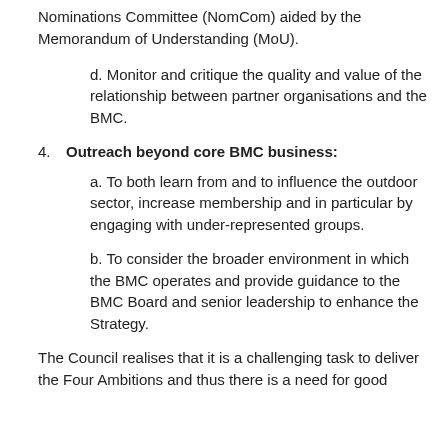Nominations Committee (NomCom) aided by the Memorandum of Understanding (MoU).
d. Monitor and critique the quality and value of the relationship between partner organisations and the BMC.
4. Outreach beyond core BMC business:
a. To both learn from and to influence the outdoor sector, increase membership and in particular by engaging with under-represented groups.
b. To consider the broader environment in which the BMC operates and provide guidance to the BMC Board and senior leadership to enhance the Strategy.
The Council realises that it is a challenging task to deliver the Four Ambitions and thus there is a need for good